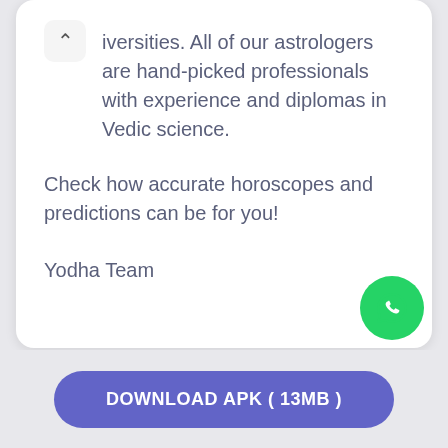iversities. All of our astrologers are hand-picked professionals with experience and diplomas in Vedic science.
Check how accurate horoscopes and predictions can be for you!
Yodha Team
[Figure (logo): WhatsApp icon in white on a green circular button]
DOWNLOAD APK ( 13MB )